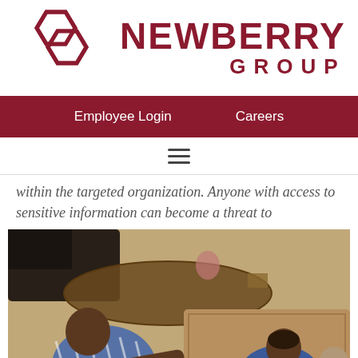[Figure (logo): Newberry Group logo: two interlocking dark red hexagons on the left, with 'NEWBERRY GROUP' text in dark red on the right]
Employee Login    Careers
[Figure (other): Hamburger menu icon (three horizontal lines)]
within the targeted organization. Anyone with access to sensitive information can become a threat to
[Figure (photo): Photo of an adult (likely a parent or teacher) leaning over a table working with two children who are writing on paper, taken from above at an angle. Interior home setting with a rug and furniture visible.]